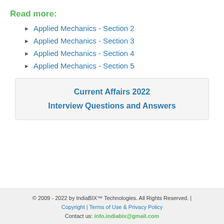Read more:
Applied Mechanics - Section 2
Applied Mechanics - Section 3
Applied Mechanics - Section 4
Applied Mechanics - Section 5
Current Affairs 2022
Interview Questions and Answers
© 2009 - 2022 by IndiaBIX™ Technologies. All Rights Reserved. | Copyright | Terms of Use & Privacy Policy
Contact us: info.indiabix@gmail.com